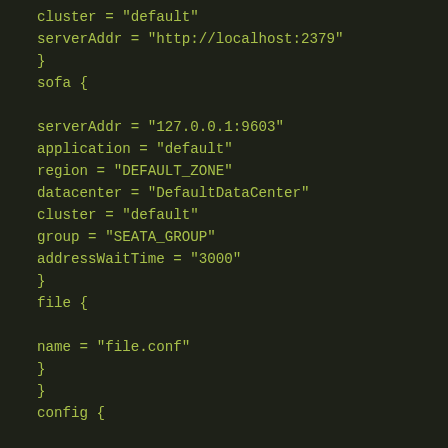[Figure (screenshot): Dark-themed code editor screenshot showing configuration file content in HCL/TOML-like syntax with green monospace text on dark background. Shows cluster, serverAddr, sofa block with nested settings, file block, and beginning of config block.]